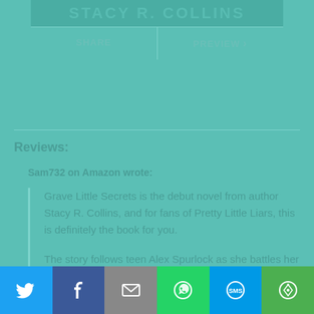[Figure (other): Book cover banner showing author name STACY R. COLLINS in teal text on teal background with share and preview buttons below]
Reviews:
Sam732 on Amazon wrote:
Grave Little Secrets is the debut novel from author Stacy R. Collins, and for fans of Pretty Little Liars, this is definitely the book for you.
The story follows teen Alex Spurlock as she battles her inner demons about keeping a horrible secret from her family, a secret
[Figure (other): Social sharing bar with Twitter, Facebook, Email, WhatsApp, SMS, and More buttons]